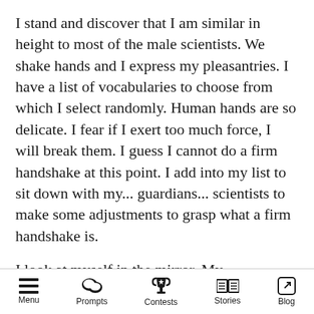I stand and discover that I am similar in height to most of the male scientists. We shake hands and I express my pleasantries. I have a list of vocabularies to choose from which I select randomly. Human hands are so delicate. I fear if I exert too much force, I will break them. I guess I cannot do a firm handshake at this point. I add into my list to sit down with my... guardians... scientists to make some adjustments to grasp what a firm handshake is.
I look at myself in the mirror. My exoskeleton that protects my fragile circuits is shaped like a human skeleton. I guess it is easier to cover me with fake skin too. The above...
Menu | Prompts | Contests | Stories | Blog